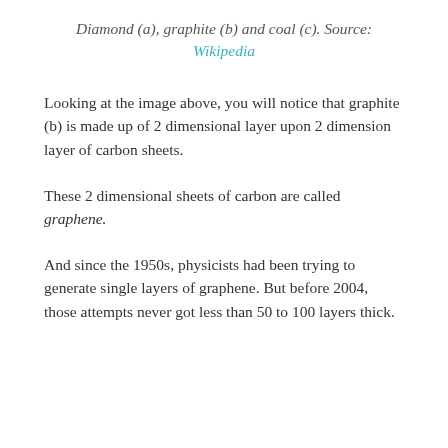Diamond (a), graphite (b) and coal (c). Source: Wikipedia
Looking at the image above, you will notice that graphite (b) is made up of 2 dimensional layer upon 2 dimension layer of carbon sheets.
These 2 dimensional sheets of carbon are called graphene.
And since the 1950s, physicists had been trying to generate single layers of graphene. But before 2004, those attempts never got less than 50 to 100 layers thick.